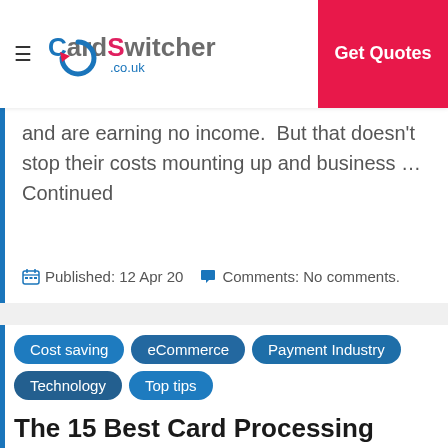CardSwitcher .co.uk | Get Quotes
and are earning no income.  But that doesn't stop their costs mounting up and business … Continued
Published: 12 Apr 20   Comments: No comments.
Cost saving
eCommerce
Payment Industry
Technology
Top tips
The 15 Best Card Processing Services
Is your business looking for new way to process card payments? Fear not, our list of card